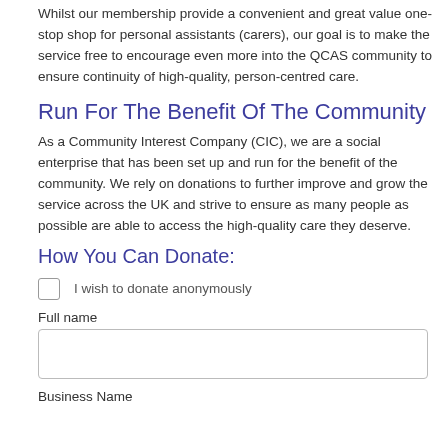Whilst our membership provide a convenient and great value one-stop shop for personal assistants (carers), our goal is to make the service free to encourage even more into the QCAS community to ensure continuity of high-quality, person-centred care.
Run For The Benefit Of The Community
As a Community Interest Company (CIC), we are a social enterprise that has been set up and run for the benefit of the community. We rely on donations to further improve and grow the service across the UK and strive to ensure as many people as possible are able to access the high-quality care they deserve.
How You Can Donate:
I wish to donate anonymously
Full name
Business Name